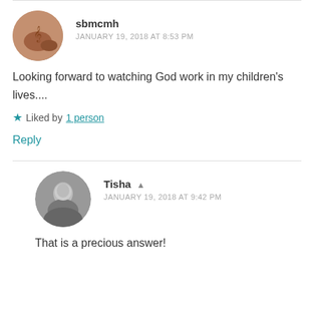sbmcmh
JANUARY 19, 2018 AT 8:53 PM
Looking forward to watching God work in my children's lives....
Liked by 1 person
Reply
Tisha
JANUARY 19, 2018 AT 9:42 PM
That is a precious answer!